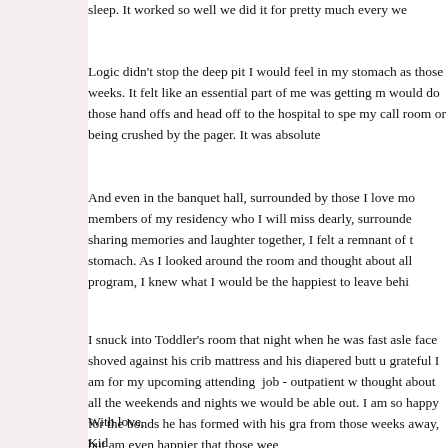sleep. It worked so well we did it for pretty much every we...
Logic didn't stop the deep pit I would feel in my stomach as those weeks. It felt like an essential part of me was getting m... would do those hand offs and head off to the hospital to spe... my call room or being crushed by the pager. It was absolute...
And even in the banquet hall, surrounded by those I love mo... members of my residency who I will miss dearly, surrounde... sharing memories and laughter together, I felt a remnant of stomach. As I looked around the room and thought about all... program, I knew what I would be the happiest to leave behi...
I snuck into Toddler's room that night when he was fast asle... face shoved against his crib mattress and his diapered butt u... grateful I am for my upcoming attending  job - outpatient w... thought about all the weekends and nights we would be able... out. I am so happy for the bonds he has formed with his gra... from those weeks away, but am even happier that those wee...
With love,
Kid...